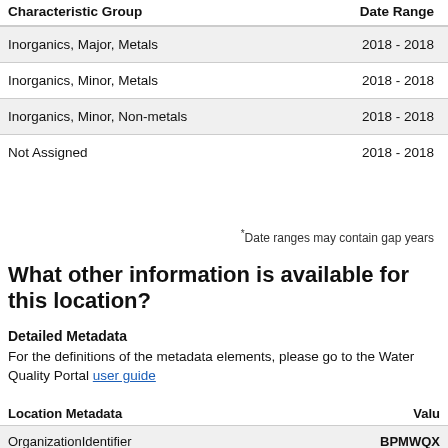| Characteristic Group | Date Range |
| --- | --- |
| Inorganics, Major, Metals | 2018 - 2018 |
| Inorganics, Minor, Metals | 2018 - 2018 |
| Inorganics, Minor, Non-metals | 2018 - 2018 |
| Not Assigned | 2018 - 2018 |
*Date ranges may contain gap years
What other information is available for this location?
Detailed Metadata
For the definitions of the metadata elements, please go to the Water Quality Portal user guide
| Location Metadata | Valu |
| --- | --- |
| OrganizationIdentifier | BPMWQX |